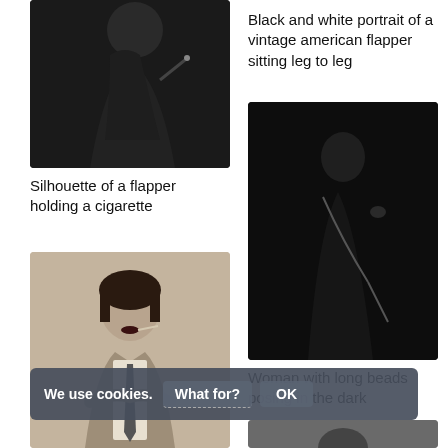[Figure (photo): Black and white photo of a woman silhouette holding a cigarette, dark background, upper body only]
Black and white portrait of a vintage american flapper sitting leg to leg
[Figure (photo): Dark black and white portrait of a woman in profile with long pearl beads, moody dark background]
Silhouette of a flapper holding a cigarette
[Figure (photo): Sepia-toned photo of a 1920s flapper woman with short hair, dark lipstick, arms crossed, wearing a tie and vest]
Woman with long beads posing in the dark
[Figure (photo): Partially visible bottom-right image, appears to be a dark portrait]
We use cookies. What for? OK